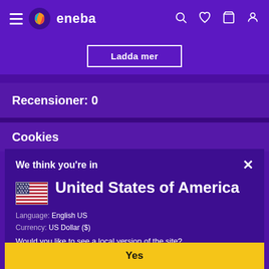eneba — navigation bar with hamburger menu, logo, search, wishlist, cart, account icons
Ladda mer
Recensioner: 0
Cookies
We think you're in
United States of America
Language: English US
Currency: US Dollar ($)
Would you like to see a local version of the site?
Yes